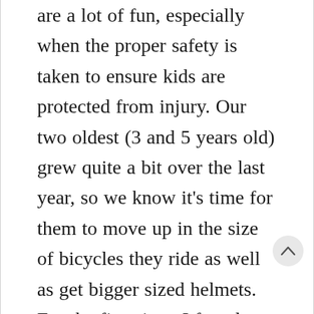are a lot of fun, especially when the proper safety is taken to ensure kids are protected from injury. Our two oldest (3 and 5 years old) grew quite a bit over the last year, so we know it's time for them to move up in the size of bicycles they ride as well as get bigger sized helmets.  For the first time, I found myself wondering "What is the right size bicycle for them? How do I know if a helmet is the proper fit?" I